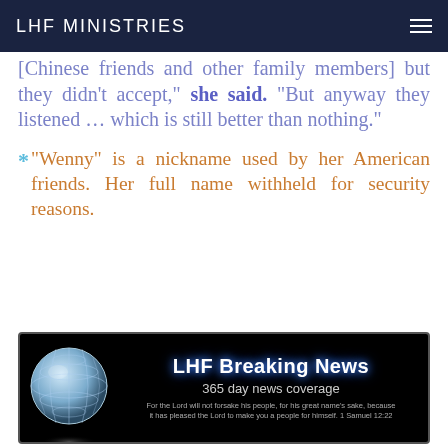LHF MINISTRIES
[Chinese friends and other family members] but they didn't accept," she said. "But anyway they listened … which is still better than nothing."
* "Wenny" is a nickname used by her American friends. Her full name withheld for security reasons.
[Figure (illustration): LHF Breaking News banner with a globe graphic on a black background. Text reads: LHF Breaking News, 365 day news coverage. Scripture quote: For the Lord will not forsake his people, for his great name's sake, because it has pleased the Lord to make you a people for himself. 1 Samuel 12:22]